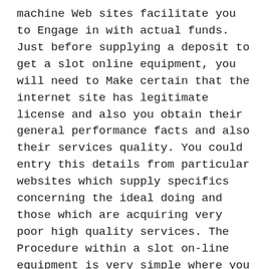machine Web sites facilitate you to Engage in with actual funds. Just before supplying a deposit to get a slot online equipment, you will need to Make certain that the internet site has legitimate license and also you obtain their general performance facts and also their services quality. You could entry this details from particular websites which supply specifics concerning the ideal doing and those which are acquiring very poor high quality services. The Procedure within a slot on-line equipment is very simple where you set the coin and run the liver and watch for your luck. No approach is needed in enjoying the net slot device Unless of course you go in for enjoying while in the sophisticated machines with a number of functions. On the web slot machine might be a beneficial thing in your case in the next.